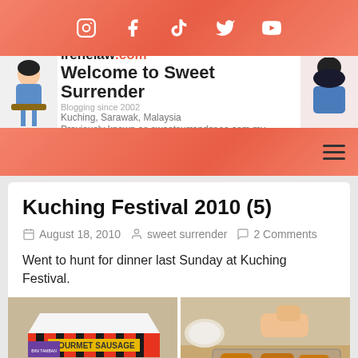Social media icons bar: Instagram, Facebook, TikTok, Twitter, YouTube
[Figure (illustration): Website header banner for irenelaw.com / Sweet Surrender blog. Cartoon avatar on left, site title 'Welcome to Sweet Surrender', URL 'irenelaw.com', tagline 'Blogging since 2002', 'Kuching, Sarawak, Malaysia', 'Previously known as sweetsurrender.so.com.my'. Cartoon avatar on right.]
[Figure (other): Red navigation bar with hamburger menu icon on right]
Kuching Festival 2010 (5)
August 18, 2010  sweet surrender  2 Comments
Went to hunt for dinner last Sunday at Kuching Festival.
[Figure (photo): Two food stall photos from Kuching Festival. Left: Gourmet Sausage stall with red and white striped awning and crowd. Right: Fried food items (sausages/churros) on a tray being prepared.]